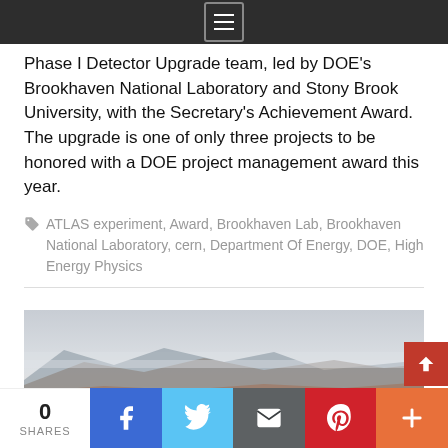Phase I Detector Upgrade team, led by DOE's Brookhaven National Laboratory and Stony Brook University, with the Secretary's Achievement Award. The upgrade is one of only three projects to be honored with a DOE project management award this year.
ATLAS experiment, Award, Brookhaven Lab, Brookhaven National Laboratory, cern, Department Of Energy, DOE, High Energy Physics
[Figure (photo): Landscape photo showing mountains with mist/clouds in the background and arid terrain in the foreground]